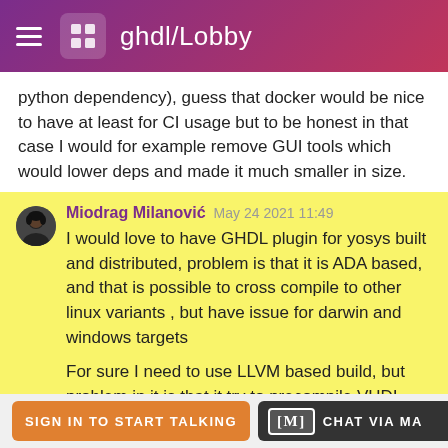ghdl/Lobby
python dependency), guess that docker would be nice to have at least for CI usage but to be honest in that case I would for example remove GUI tools which would lower deps and made it much smaller in size.
Miodrag Milanović  May 24 2021 11:49
I would love to have GHDL plugin for yosys built and distributed, problem is that it is ADA based, and that is possible to cross compile to other linux variants , but have issue for darwin and windows targets

For sure I need to use LLVM based build, but problem in it is that it try to precompile VHDL libraries with created binaries which is not possible for all targets since no QEMU for macOS (darwin)
SIGN IN TO START TALKING   CHAT VIA MA